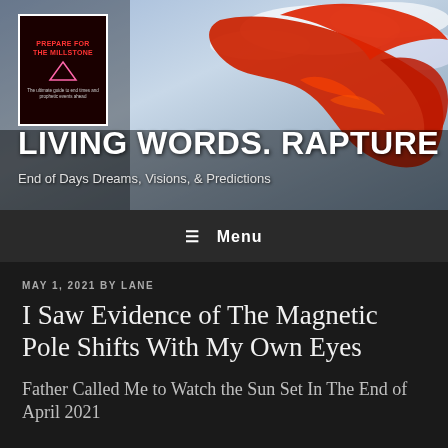[Figure (illustration): Website header banner featuring a large red dragon with spread wings against a cloudy sky background. A book cover is visible in the upper left corner with red text reading 'PREPARE FOR THE MILLSTONE' and a pink triangle symbol.]
LIVING WORDS. RAPTURE
End of Days Dreams, Visions, & Predictions
≡ Menu
MAY 1, 2021 BY LANE
I Saw Evidence of The Magnetic Pole Shifts With My Own Eyes
Father Called Me to Watch the Sun Set In The End of April 2021